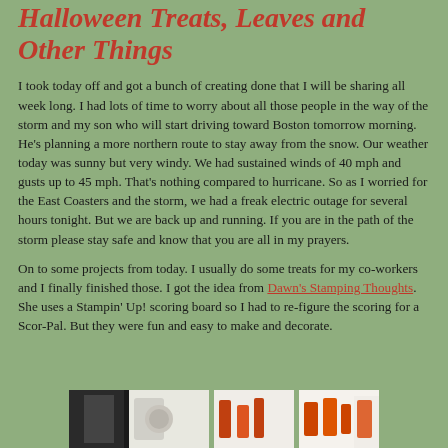Halloween Treats, Leaves and Other Things
I took today off and got a bunch of creating done that I will be sharing all week long. I had lots of time to worry about all those people in the way of the storm and my son who will start driving toward Boston tomorrow morning. He's planning a more northern route to stay away from the snow. Our weather today was sunny but very windy. We had sustained winds of 40 mph and gusts up to 45 mph. That's nothing compared to hurricane. So as I worried for the East Coasters and the storm, we had a freak electric outage for several hours tonight. But we are back up and running. If you are in the path of the storm please stay safe and know that you are all in my prayers.
On to some projects from today. I usually do some treats for my co-workers and I finally finished those. I got the idea from Dawn's Stamping Thoughts. She uses a Stampin' Up! scoring board so I had to re-figure the scoring for a Scor-Pal. But they were fun and easy to make and decorate.
[Figure (photo): Partial view of Halloween treats or crafts, showing orange and white items against a light background]